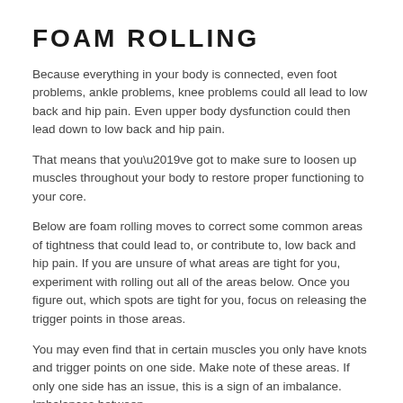FOAM ROLLING
Because everything in your body is connected, even foot problems, ankle problems, knee problems could all lead to low back and hip pain. Even upper body dysfunction could then lead down to low back and hip pain.
That means that you’ve got to make sure to loosen up muscles throughout your body to restore proper functioning to your core.
Below are foam rolling moves to correct some common areas of tightness that could lead to, or contribute to, low back and hip pain. If you are unsure of what areas are tight for you, experiment with rolling out all of the areas below. Once you figure out, which spots are tight for you, focus on releasing the trigger points in those areas.
You may even find that in certain muscles you only have knots and trigger points on one side. Make note of these areas. If only one side has an issue, this is a sign of an imbalance. Imbalances between